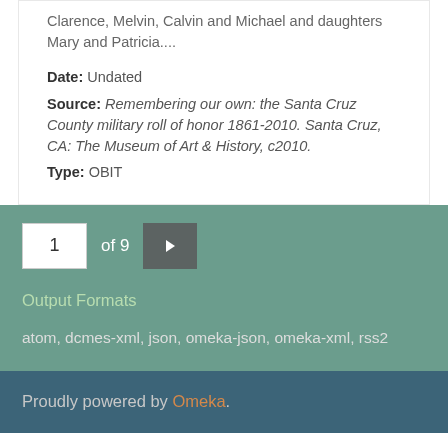Clarence, Melvin, Calvin and Michael and daughters Mary and Patricia....
Date: Undated
Source: Remembering our own: the Santa Cruz County military roll of honor 1861-2010. Santa Cruz, CA: The Museum of Art & History, c2010.
Type: OBIT
1 of 9
Output Formats
atom, dcmes-xml, json, omeka-json, omeka-xml, rss2
Proudly powered by Omeka.